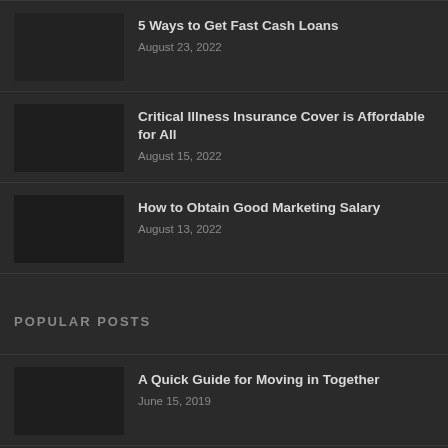5 Ways to Get Fast Cash Loans
August 23, 2022
Critical Illness Insurance Cover is Affordable for All
August 15, 2022
How to Obtain Good Marketing Salary
August 13, 2022
POPULAR POSTS
A Quick Guide for Moving in Together
June 15, 2019